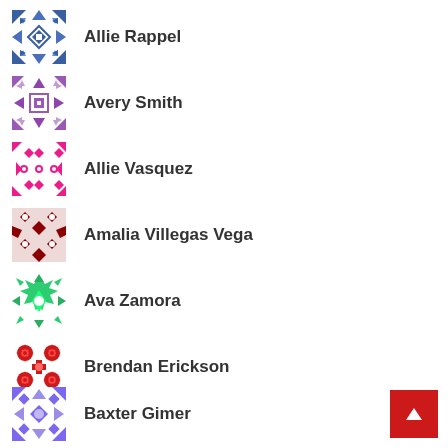Allie Rappel
Avery Smith
Allie Vasquez
Amalia Villegas Vega
Ava Zamora
Brendan Erickson
Baxter Gimer